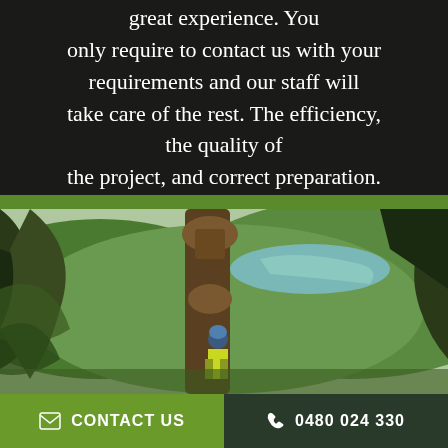great experience. You only require to contact us with your requirements and our staff will take care of the rest. The efficiency, the quality of the project, and correct preparation.
[Figure (photo): An arborist in a yellow high-visibility jacket and helmet climbing a large tree with branches removed, with a green valley, river, and forested hills in the background.]
CONTACT US
0480 024 330